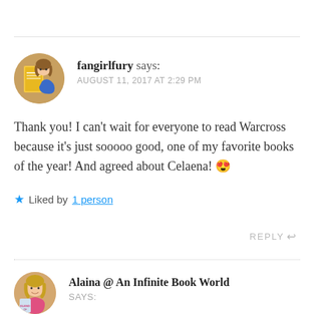fangirlfury says: AUGUST 11, 2017 AT 2:29 PM
Thank you! I can't wait for everyone to read Warcross because it's just sooooo good, one of my favorite books of the year! And agreed about Celaena! 😍
★ Liked by 1 person
REPLY
Alaina @ An Infinite Book World says: